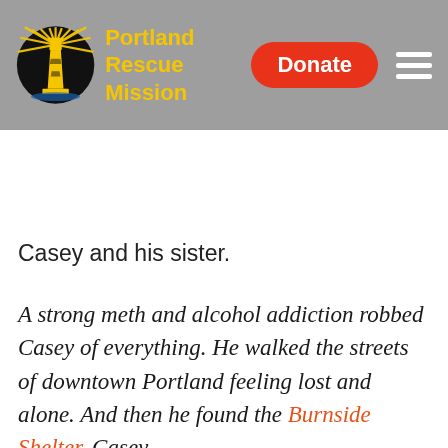[Figure (logo): Portland Rescue Mission logo with lighthouse icon and yellow text, Donate button in red, and hamburger menu on grey header bar]
Casey and his sister.
A strong meth and alcohol addiction robbed Casey of everything. He walked the streets of downtown Portland feeling lost and alone. And then he found the Burnside Shelter. Casey